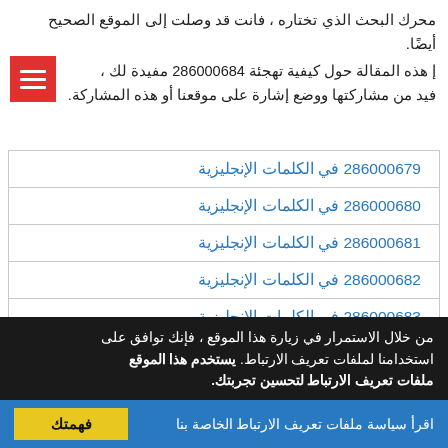محرك البحث الذي تختاره ، فانت قد وصلت إلى الموقع الصحيح أيضًا.
إ هذه المقالة حول كيفية تهجئة 286000684 مفيدة لك ، فيد من مشاركتها ووضع إشارة على موقعنا أو هذه المشاركة.
286000679 في الكلمات الإنجليزية
286000680 في الكلمات الإنجليزية
286000681 في الكلمات الإنجليزية
286000682 في الكلمات الإنجليزية
286000683 في الكلمات الإنجليزية
286000684 في الكلمات الإنجليزية
من خلال الاستمرار في زيارة هذا الموقع ، فإنك توافق على استخدامنا لملفات تعريف الارتباط. يستخدم هذا الموقع ملفات تعريف الارتباط لتحسين تجربتك.
اقرأ سياسة ملفات تعريف الارتباط الخاصة بنا
فهمتك